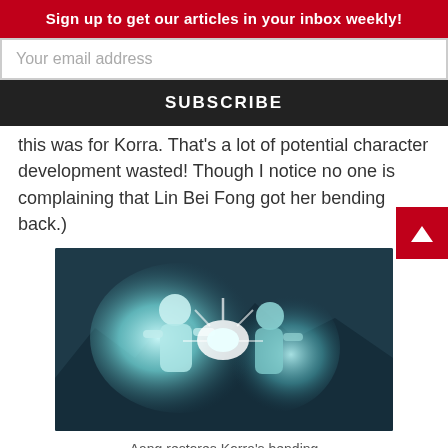Sign up to get our articles in your inbox weekly!
Your email address
SUBSCRIBE
this was for Korra. That's a lot of potential character development wasted! Though I notice no one is complaining that Lin Bei Fong got her bending back.)
[Figure (illustration): Animated scene showing Aang restoring Korra's bending with glowing energy between two characters]
Aang restores Korra's bending
Aang goes onto tell Korra something that stuck me deeply: